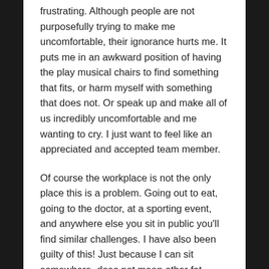frustrating. Although people are not purposefully trying to make me uncomfortable, their ignorance hurts me. It puts me in an awkward position of having the play musical chairs to find something that fits, or harm myself with something that does not. Or speak up and make all of us incredibly uncomfortable and me wanting to cry. I just want to feel like an appreciated and accepted team member.
Of course the workplace is not the only place this is a problem. Going out to eat, going to the doctor, at a sporting event, and anywhere else you sit in public you'll find similar challenges. I have also been guilty of this! Just because I can sit somewhere, does not mean other fat people can as well. I have body size privilege as well and need to think about accessibility in public spaces for my super fat friends and had to learn that the hard way. I was so embarrassed, but that doesn't help my friend. I made sure to correct the situation, took accountability, and now use it as a lesson.